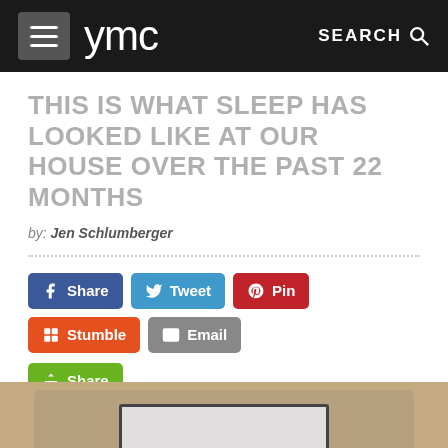ymc  SEARCH
THIS IS WHAT SLEEP HAS LOOKED LIKE AT OUR HOUSE OVER THE PAST 22 MONTHS
by: Jen Schlumberger
Share | Tweet | Pin | Stumble | Email | Share
The Evolution Of Our Sleep Arrangements: Illustrated
[Figure (photo): Bottom edge of an illustrated image showing a bed or furniture item, partially visible]